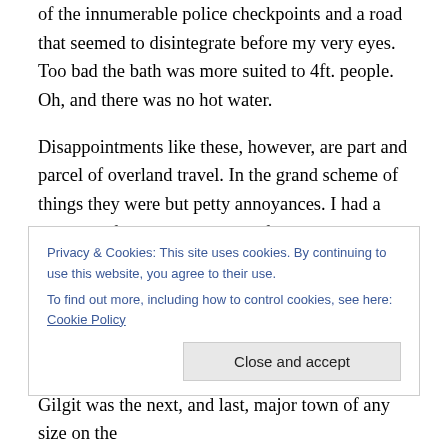of the innumerable police checkpoints and a road that seemed to disintegrate before my very eyes. Too bad the bath was more suited to 4ft. people. Oh, and there was no hot water.
Disappointments like these, however, are part and parcel of overland travel. In the grand scheme of things they were but petty annoyances. I had a bed, a roof over my head, and food. So I decided to stay an extra day to get some laundry done and rest some weary bones while I planned how I was going to tackle the remaining stage to
Privacy & Cookies: This site uses cookies. By continuing to use this website, you agree to their use.
To find out more, including how to control cookies, see here: Cookie Policy
Close and accept
Gilgit was the next, and last, major town of any size on the